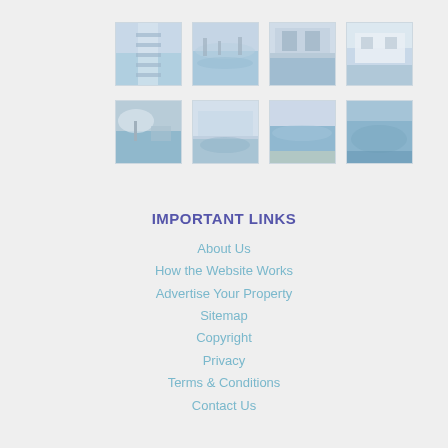[Figure (photo): Grid of 8 vacation/property photos in two rows of four, showing coastal and poolside scenes]
IMPORTANT LINKS
About Us
How the Website Works
Advertise Your Property
Sitemap
Copyright
Privacy
Terms & Conditions
Contact Us